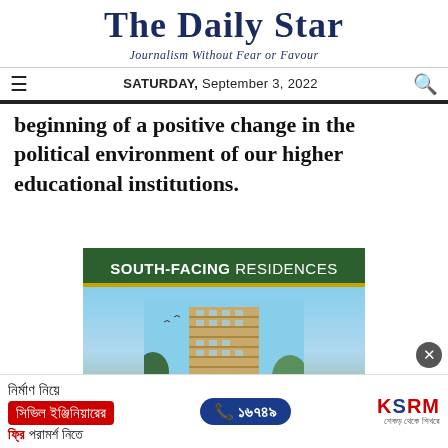The Daily Star
Journalism Without Fear or Favour
SATURDAY, September 3, 2022
beginning of a positive change in the political environment of our higher educational institutions.
[Figure (photo): Advertisement for South-Facing Residences showing a tall modern residential building against a blue sky with trees]
[Figure (photo): KSRM advertisement in Bengali: Construction civil engineer free consultation, phone number 16749]